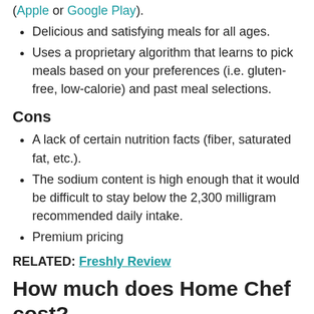(Apple or Google Play).
Delicious and satisfying meals for all ages.
Uses a proprietary algorithm that learns to pick meals based on your preferences (i.e. gluten-free, low-calorie) and past meal selections.
Cons
A lack of certain nutrition facts (fiber, saturated fat, etc.).
The sodium content is high enough that it would be difficult to stay below the 2,300 milligram recommended daily intake.
Premium pricing
RELATED: Freshly Review
How much does Home Chef cost?